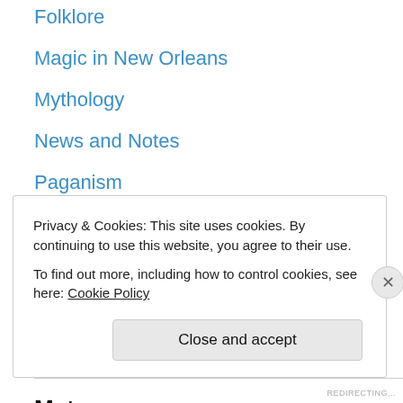Folklore
Magic in New Orleans
Mythology
News and Notes
Paganism
The Mabinogion
Uncategorized
Wicca
Witchcraft
Meta
Register
Privacy & Cookies: This site uses cookies. By continuing to use this website, you agree to their use.
To find out more, including how to control cookies, see here: Cookie Policy
Close and accept
REDIRECTING...